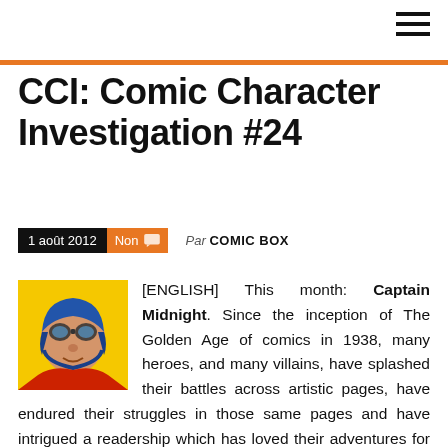CCI: Comic Character Investigation #24
1 août 2012  Non  Par COMIC BOX
[Figure (illustration): Comic book style portrait of Captain Midnight wearing a blue aviator helmet, yellow background]
[ENGLISH] This month: Captain Midnight. Since the inception of The Golden Age of comics in 1938, many heroes, and many villains, have splashed their battles across artistic pages, have endured their struggles in those same pages and have intrigued a readership which has loved their adventures for 72 years. This column celebrates such characters by taking a look each month at one of them. Some you will know and some are more obscure, but all hold a significant place in comics, for the world of stories in any